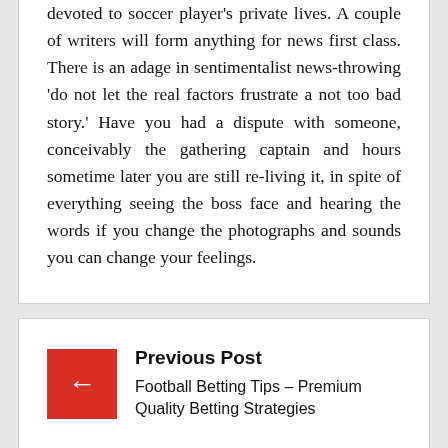devoted to soccer player's private lives. A couple of writers will form anything for news first class. There is an adage in sentimentalist news-throwing 'do not let the real factors frustrate a not too bad story.' Have you had a dispute with someone, conceivably the gathering captain and hours sometime later you are still re-living it, in spite of everything seeing the boss face and hearing the words if you change the photographs and sounds you can change your feelings.
Previous Post
Football Betting Tips – Premium Quality Betting Strategies